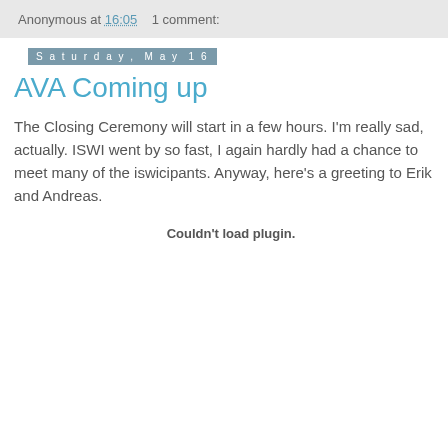Anonymous at 16:05    1 comment:
Saturday, May 16
AVA Coming up
The Closing Ceremony will start in a few hours. I'm really sad, actually. ISWI went by so fast, I again hardly had a chance to meet many of the iswicipants. Anyway, here's a greeting to Erik and Andreas.
Couldn't load plugin.